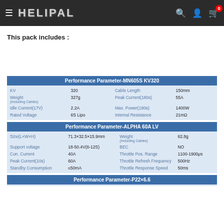HELIPAL — navigation header with search, account, cart icons
This pack includes :
| Performance Parameter-MN605S KV320 |
| --- |
| KV | 320 | Cable Length | 150mm |
| Weight (Including Cables) | 327g | Peak Current(180s) | 55A |
| Idle Current(17V) | 2.2A | Max. Power(180s) | 1400W |
| Rated Voltage | 6S Lipo | Internal Resistance | 21mΩ |
| Performance Parameter-ALPHA 60A LV |
| --- |
| Size(L×W×H) | 71.3×32.5×15.9mm | Weight (Including Cables) | 62.8g |
| Support voltage | 18-50.4V(6-12S) | BEC | NO |
| Con. Current | 40A | Throttle Pos. Range | 1100-1900μs |
| Peak Current(10s) | 60A | Throttle Refresh Frequency | 500Hz |
| Standby Consumption | ≤50mA | Throttle Response Speed | 50ms |
| Performance Parameter-P22×6.6 |
| --- |